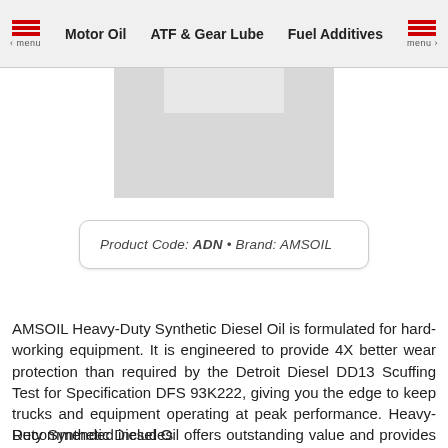Motor Oil · ATF & Gear Lube · Fuel Additives
[Figure (photo): Product image placeholder — gray rectangle with lighter gray inner region]
Product Code: ADN • Brand: AMSOIL
AMSOIL Heavy-Duty Synthetic Diesel Oil is formulated for hard-working equipment. It is engineered to provide 4X better wear protection than required by the Detroit Diesel DD13 Scuffing Test for Specification DFS 93K222, giving you the edge to keep trucks and equipment operating at peak performance. Heavy-Duty Synthetic Diesel Oil offers outstanding value and provides excellent protection for customers seeking an upgrade over conventional, synthetic-blend or competing synthetic diesel oils.
Recommended includes